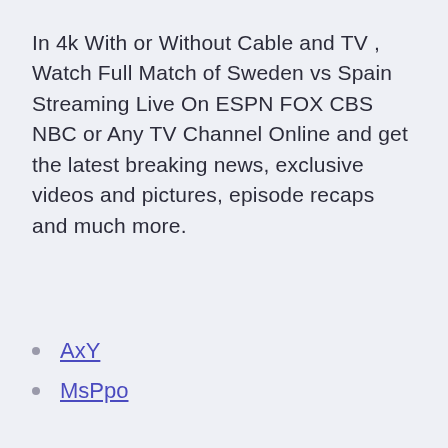In 4k With or Without Cable and TV , Watch Full Match of Sweden vs Spain Streaming Live On ESPN FOX CBS NBC or Any TV Channel Online and get the latest breaking news, exclusive videos and pictures, episode recaps and much more.
AxY
MsPpo